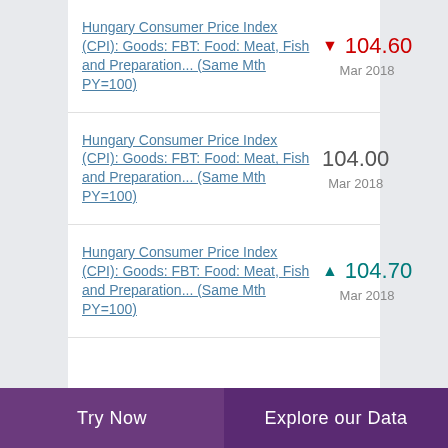Hungary Consumer Price Index (CPI): Goods: FBT: Food: Meat, Fish and Preparation... (Same Mth PY=100)
Hungary Consumer Price Index (CPI): Goods: FBT: Food: Meat, Fish and Preparation... (Same Mth PY=100)
Hungary Consumer Price Index (CPI): Goods: FBT: Food: Meat, Fish and Preparation... (Same Mth PY=100)
Try Now   Explore our Data